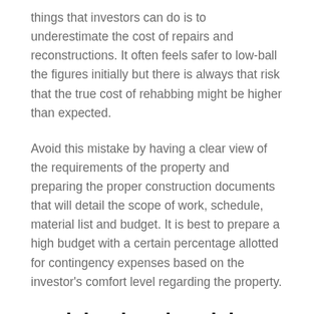things that investors can do is to underestimate the cost of repairs and reconstructions. It often feels safer to low-ball the figures initially but there is always that risk that the true cost of rehabbing might be higher than expected.
Avoid this mistake by having a clear view of the requirements of the property and preparing the proper construction documents that will detail the scope of work, schedule, material list and budget. It is best to prepare a high budget with a certain percentage allotted for contingency expenses based on the investor's comfort level regarding the property.
Anticipating the Risks
Distressed properties are generally old or neglected homes and they carry a number of risks